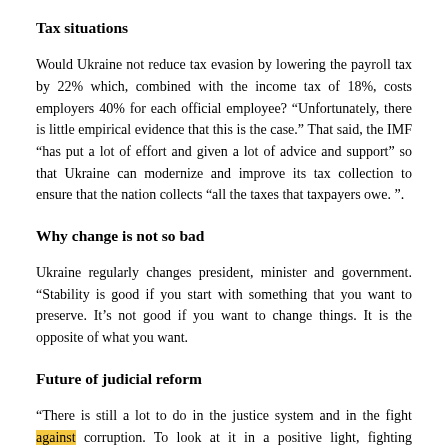Tax situations
Would Ukraine not reduce tax evasion by lowering the payroll tax by 22% which, combined with the income tax of 18%, costs employers 40% for each official employee? “Unfortunately, there is little empirical evidence that this is the case.” That said, the IMF “has put a lot of effort and given a lot of advice and support” so that Ukraine can modernize and improve its tax collection to ensure that the nation collects “all the taxes that taxpayers owe. ”.
Why change is not so bad
Ukraine regularly changes president, minister and government. “Stability is good if you start with something that you want to preserve. It’s not good if you want to change things. It is the opposite of what you want.
Future of judicial reform
“There is still a lot to do in the justice system and in the fight against corruption. To look at it in a positive light, fighting corruption means lots to...